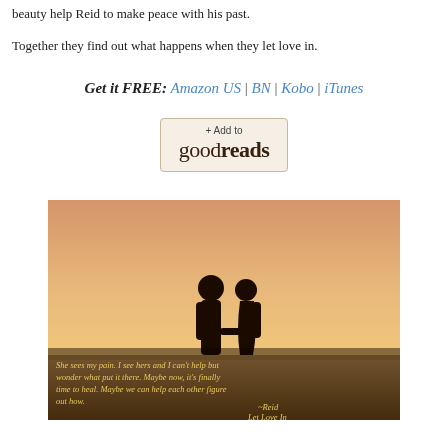beauty help Reid to make peace with his past.
Together they find out what happens when they let love in.
Get it FREE: Amazon US | BN | Kobo | iTunes
[Figure (other): Goodreads '+ Add to goodreads' button]
[Figure (photo): Silhouette of a couple holding hands in a sunset field with quote: 'She sees my pain. I see hers and I can't help but wonder what put it there. Maybe now, it's finally time to heal. Maybe we can help each other figure out how.' ~Reid, Let Love In]